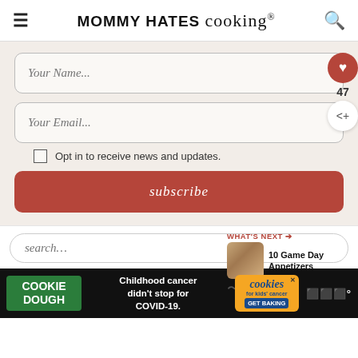MOMMY HATES cooking®
Your Name...
Your Email...
Opt in to receive news and updates.
subscribe
47
search...
WHAT'S NEXT → 10 Game Day Appetizers
[Figure (other): Cookie Dough advertisement banner: Childhood cancer didn't stop for COVID-19. GET BAKING.]